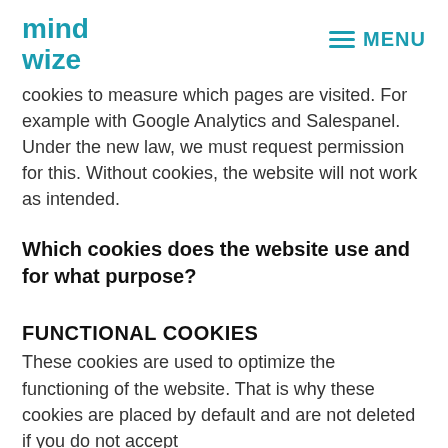mindwize | MENU
cookies to measure which pages are visited. For example with Google Analytics and Salespanel. Under the new law, we must request permission for this. Without cookies, the website will not work as intended.
Which cookies does the website use and for what purpose?
FUNCTIONAL COOKIES
These cookies are used to optimize the functioning of the website. That is why these cookies are placed by default and are not deleted if you do not accept